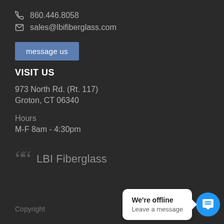860.446.8058
sales@lbifiberglass.com
message us
VISIT US
973 North Rd. (Rt. 117)
Groton, CT 06340
Hours
M-F 8am - 4:30pm
LBI Fiberglass
Copyright
[Figure (screenshot): Chat widget showing 'We're offline / Leave a message' popup with blue chat button]